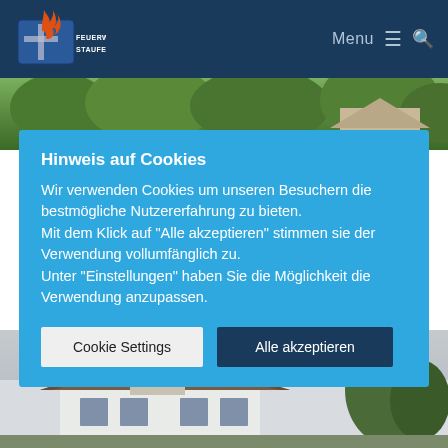Feuerwehr Staufen — Menu
[Figure (photo): Green foliage/trees photo strip at top]
Hinweis auf Cookies
Wir verwenden Cookies um unseren Besuchern die bestmögliche Nutzererfahrung zu bieten. Mit dem Klick auf "Alle akzeptieren" stimmen sie der Verwendung vollumfänglich zu. Unter "Einstellungen" haben Sie die Möglichkeit die Verwendung anzupassen.
Cookie Settings | Alle akzeptieren
[Figure (photo): Exterior building/house photo at bottom of page]